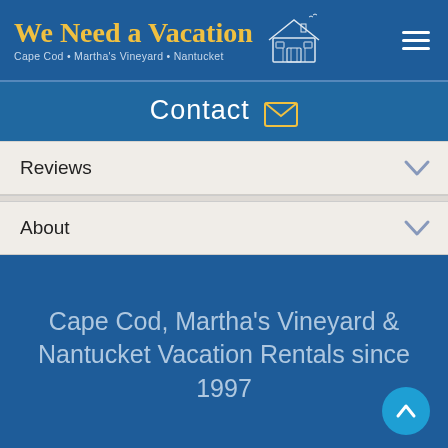We Need a Vacation — Cape Cod • Martha's Vineyard • Nantucket
Contact
Reviews
About
Cape Cod, Martha's Vineyard & Nantucket Vacation Rentals since 1997